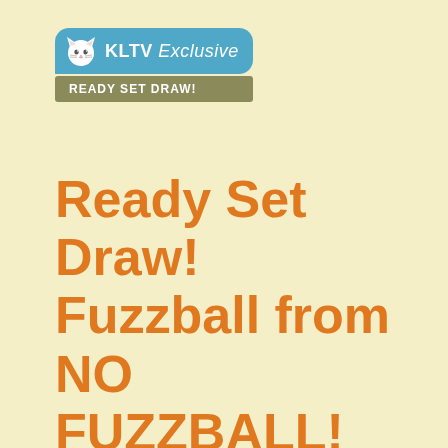[Figure (logo): KLTV Exclusive logo badge with cartoon cat icon in blue rounded banner, followed by an olive/khaki colored 'READY SET DRAW!' label below]
Ready Set Draw! Fuzzball from NO FUZZBALL!